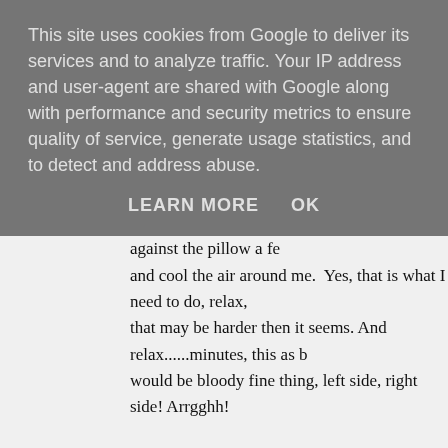This site uses cookies from Google to deliver its services and to analyze traffic. Your IP address and user-agent are shared with Google along with performance and security metrics to ensure quality of service, generate usage statistics, and to detect and address abuse.
LEARN MORE    OK
Maybe shifting in bed, smacking my head against the pillow a few times and cool the air around me.  Yes, that is what I need to do, relax, but that may be harder then it seems. And relax......minutes, this as b would be bloody fine thing, left side, right side! Arrgghh!
I get up, plod to the bathroom.  Maybe a shower will help, cool me get in, the warm water fills amazing on my boiling skin.  God it
Can you sleep in the shower? Don't be silly, brain behave yours overheated.  Getting a headache, I'm melting, my brain is going body will overheat and I will die.